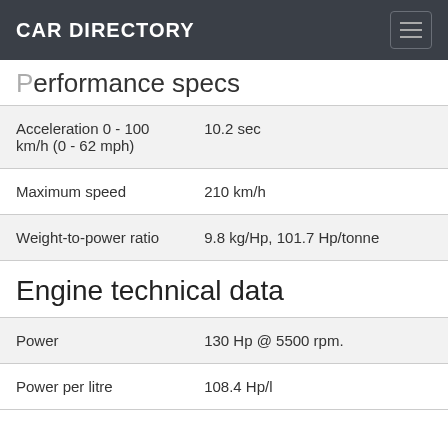CAR DIRECTORY
Performance specs
| Acceleration 0 - 100 km/h (0 - 62 mph) | 10.2 sec |
| Maximum speed | 210 km/h |
| Weight-to-power ratio | 9.8 kg/Hp, 101.7 Hp/tonne |
Engine technical data
| Power | 130 Hp @ 5500 rpm. |
| Power per litre | 108.4 Hp/l |